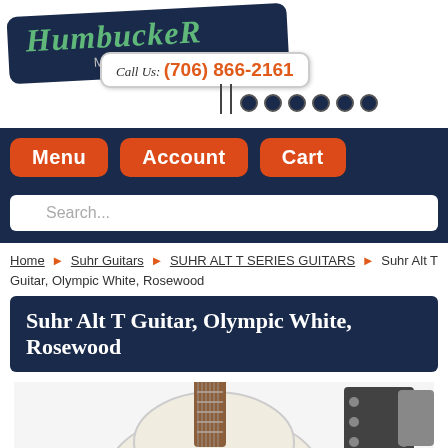[Figure (logo): Humbucker Music logo on navy sign with 'Call Us: (706) 866-2161' badge and guitar tuning pegs]
Menu
Account
Cart
Search...
Home ▶ Suhr Guitars ▶ SUHR ALT T SERIES GUITARS ▶ Suhr Alt T Guitar, Olympic White, Rosewood
Suhr Alt T Guitar, Olympic White, Rosewood
[Figure (photo): White Suhr Alt T guitar with red tortoiseshell pickguard and rosewood fretboard, semi-hollow body visible]